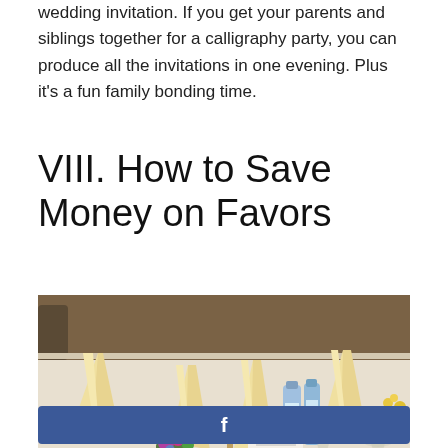wedding invitation. If you get your parents and siblings together for a calligraphy party, you can produce all the invitations in one evening. Plus it's a fun family bonding time.
VIII. How to Save Money on Favors
[Figure (photo): Wedding reception table set with cream/ivory folded napkins in fan/feather shapes, floral centerpieces with purple and pink flowers, water bottles, wine glasses, menus, silverware on a white tablecloth.]
[Figure (other): Facebook share button — blue rectangle with white 'f' icon centered.]